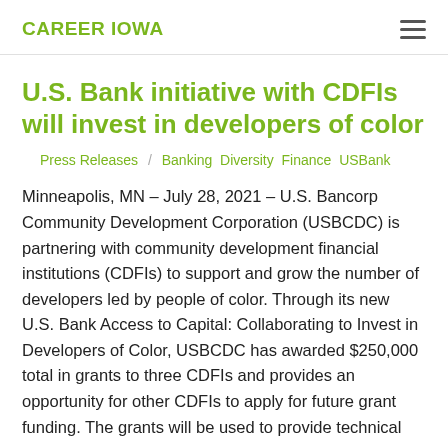CAREER IOWA
U.S. Bank initiative with CDFIs will invest in developers of color
Press Releases / Banking  Diversity  Finance  USBank
Minneapolis, MN – July 28, 2021 – U.S. Bancorp Community Development Corporation (USBCDC) is partnering with community development financial institutions (CDFIs) to support and grow the number of developers led by people of color. Through its new U.S. Bank Access to Capital: Collaborating to Invest in Developers of Color, USBCDC has awarded $250,000 total in grants to three CDFIs and provides an opportunity for other CDFIs to apply for future grant funding. The grants will be used to provide technical